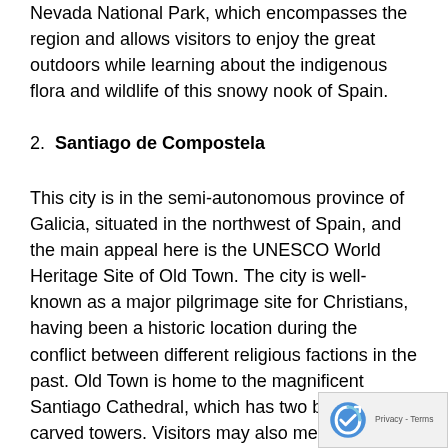Nevada National Park, which encompasses the region and allows visitors to enjoy the great outdoors while learning about the indigenous flora and wildlife of this snowy nook of Spain.
2. Santiago de Compostela
This city is in the semi-autonomous province of Galicia, situated in the northwest of Spain, and the main appeal here is the UNESCO World Heritage Site of Old Town. The city is well-known as a major pilgrimage site for Christians, having been a historic location during the conflict between different religious factions in the past. Old Town is home to the magnificent Santiago Cathedral, which has two beautifully carved towers. Visitors may also meander down winding alleyways in search of tasty tapas or local handmade goods, and the region is noted for being painstakingly and artistically repaired and kept, giving you the feeling of genuinely being taken back into old times.